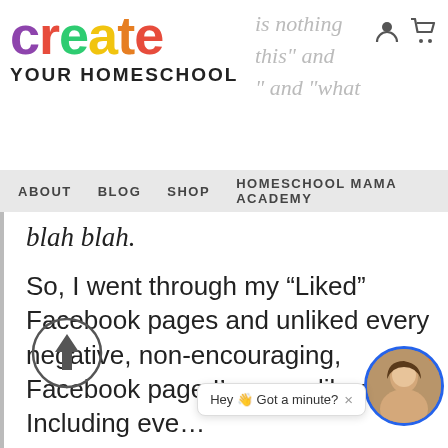create YOUR HOMESCHOOL — is nothing this" and " and "what
ABOUT  BLOG  SHOP  HOMESCHOOL MAMA ACADEMY
blah blah.
So, I went through my “Liked” Facebook pages and unliked every negative, non-encouraging, Facebook page I’ve ever liked – Including every news resource!